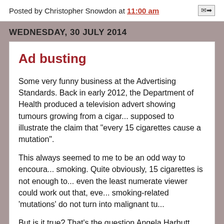Posted by Christopher Snowdon at 11:00 am
WEDNESDAY, 30 JULY 2014
Ad busting
Some very funny business at the Advertising Standards. Back in early 2012, the Department of Health produced a television advert showing tumours growing from a cigar... supposed to illustrate the claim that "every 15 cigarettes cause a mutation".
This always seemed to me to be an odd way to encourage smoking. Quite obviously, 15 cigarettes is not enough to... even the least numerate viewer could work out that, eve... smoking-related 'mutations' do not turn into malignant tu...
But is it true? That's the question Angela Harbutt, who u... Hands Off Our Packs campaign, wanted to know when...